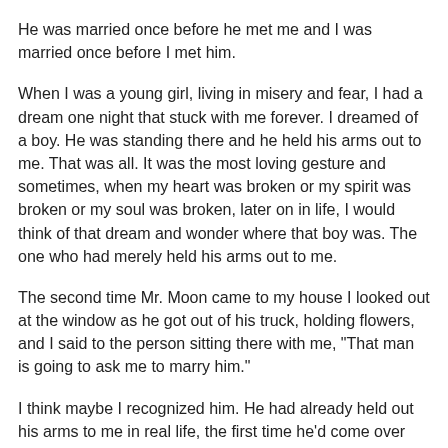He was married once before he met me and I was married once before I met him.
When I was a young girl, living in misery and fear, I had a dream one night that stuck with me forever. I dreamed of a boy. He was standing there and he held his arms out to me. That was all. It was the most loving gesture and sometimes, when my heart was broken or my spirit was broken or my soul was broken, later on in life, I would think of that dream and wonder where that boy was. The one who had merely held his arms out to me.
The second time Mr. Moon came to my house I looked out at the window as he got out of his truck, holding flowers, and I said to the person sitting there with me, "That man is going to ask me to marry him."
I think maybe I recognized him. He had already held out his arms to me in real life, the first time he'd come over and so by the second time, well, I knew.